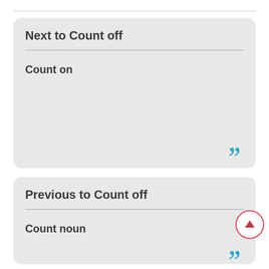Next to Count off
Count on
Previous to Count off
Count noun